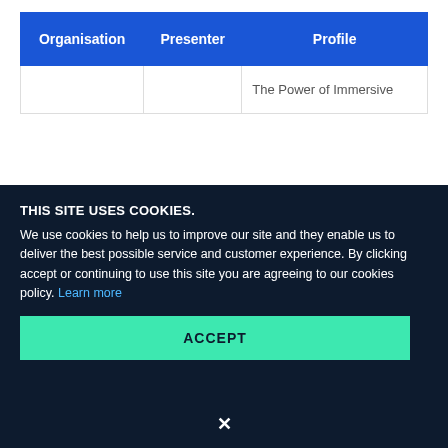| Organisation | Presenter | Profile |
| --- | --- | --- |
|  |  | The Power of Immersive ... |
THIS SITE USES COOKIES.
We use cookies to help us to improve our site and they enable us to deliver the best possible service and customer experience. By clicking accept or continuing to use this site you are agreeing to our cookies policy. Learn more
ACCEPT
×